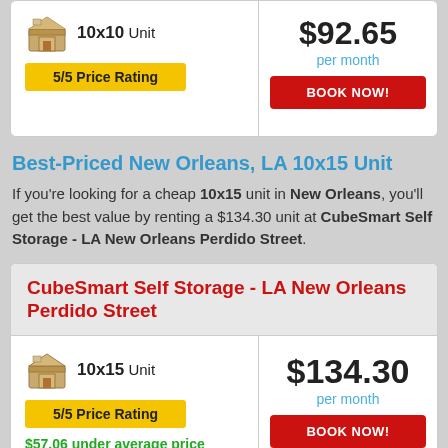10x15 Unit — 5/5 Price Rating — $92.65 per month — BOOK NOW!
Best-Priced New Orleans, LA 10x15 Unit
If you're looking for a cheap 10x15 unit in New Orleans, you'll get the best value by renting a $134.30 unit at CubeSmart Self Storage - LA New Orleans Perdido Street.
CubeSmart Self Storage - LA New Orleans Perdido Street
10x15 Unit — 5/5 Price Rating — $57.06 under average price — $134.30 per month — BOOK NOW!